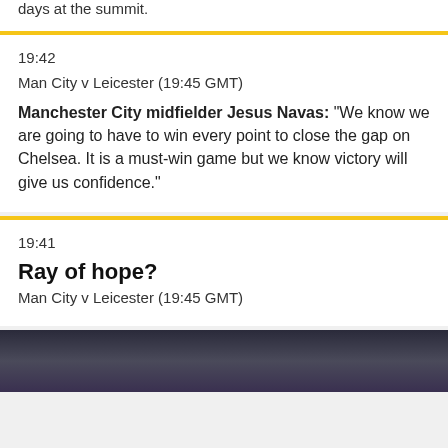days at the summit.
19:42
Man City v Leicester (19:45 GMT)
Manchester City midfielder Jesus Navas: "We know we are going to have to win every point to close the gap on Chelsea. It is a must-win game but we know victory will give us confidence."
19:41
Ray of hope?
Man City v Leicester (19:45 GMT)
[Figure (photo): Dark photo of football player(s), partially visible at bottom of page]